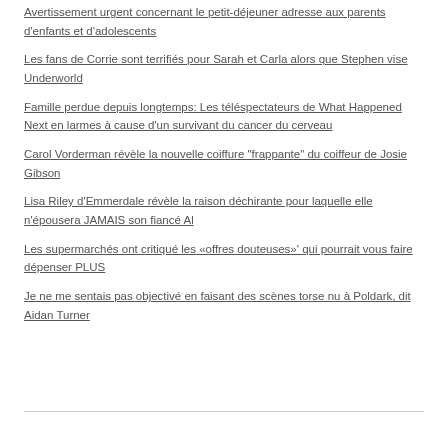Avertissement urgent concernant le petit-déjeuner adresse aux parents d'enfants et d'adolescents
Les fans de Corrie sont terrifiés pour Sarah et Carla alors que Stephen vise Underworld
Famille perdue depuis longtemps: Les téléspectateurs de What Happened Next en larmes à cause d'un survivant du cancer du cerveau
Carol Vorderman révèle la nouvelle coiffure "frappante" du coiffeur de Josie Gibson
Lisa Riley d'Emmerdale révèle la raison déchirante pour laquelle elle n'épousera JAMAIS son fiancé Al
Les supermarchés ont critiqué les «offres douteuses»' qui pourrait vous faire dépenser PLUS
Je ne me sentais pas objectivé en faisant des scènes torse nu à Poldark, dit Aidan Turner